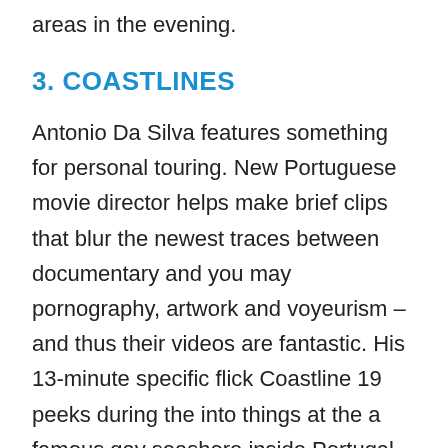obvious coverage dangers so you can driving areas in the evening.
3. COASTLINES
Antonio Da Silva features something for personal touring. New Portuguese movie director helps make brief clips that blur the newest traces between documentary and you may pornography, artwork and voyeurism – and thus their videos are fantastic. His 13-minute specific flick Coastline 19 peeks during the into things at the a famous gay seashore inside Portugal.